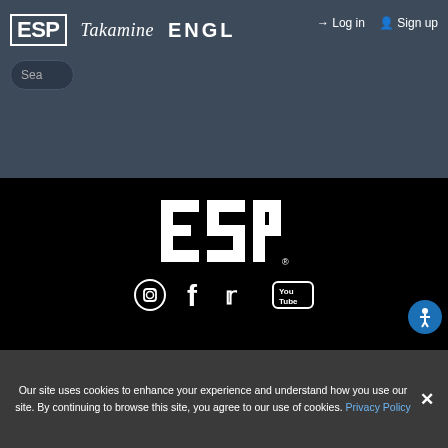[Figure (logo): ESP logo in white block style with border, Takamine script logo in white, ENGL logo in white bold letters — navigation header logos]
Log in   Sign up
Sea
[Figure (logo): Large ESP logo in white bold letters with registered trademark symbol, centered in footer]
[Figure (infographic): Social media icons: Instagram (circle with camera outline), Facebook (f), Twitter (bird), YouTube (box with 'You Tube' text) — all white on black]
PRICING AND SPECIFICATIONS SUBJECT TO CHANGE
Terms of Use | Privacy Policy | Contact Support
©2022 The ESP Guitar Company, 10913 Vanowen Street, North Hollywood, CA 91605 USA - PH: (800) 423-8388 - INTL: (818) 766-2097 - FAX: (818)
[Figure (illustration): Blue circular accessibility icon with white person/wheelchair symbol]
Our site uses cookies to enhance your experience and understand how you use our site. By continuing to browse this site, you agree to our use of cookies. Privacy Policy